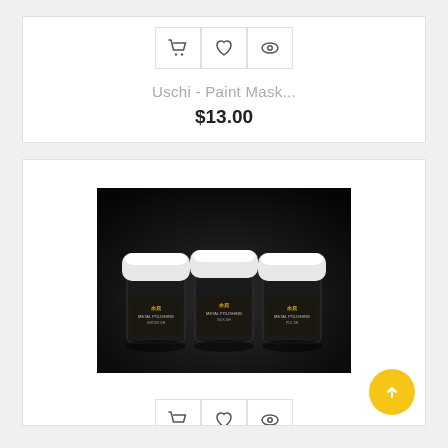[Figure (other): Three action icon buttons: shopping cart, heart/wishlist, and eye/view, shown in a row with bordered boxes]
Uschi - Paint Mask...
$13.00
[Figure (photo): Three small jars of metal polishing powder (labeled METAL POLISHING) with white lids on a dark background]
[Figure (other): Three action icon buttons: shopping cart, heart/wishlist, and eye/view, shown in a row with bordered boxes]
[Figure (other): Yellow circular FAB button with upward chevron arrow]